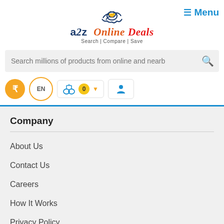[Figure (logo): a2z Online Deals logo with handshake icon and tagline Search | Compare | Save]
Menu
Search millions of products from online and nearb
[Figure (infographic): Toolbar with currency (rupee), language (EN), compare (0), and user account buttons]
Company
About Us
Contact Us
Careers
How It Works
Privacy Policy
Terms and Conditions